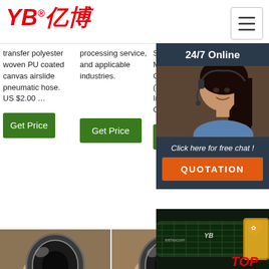[Figure (logo): YB亿博 company logo in red italic text with registered trademark symbol]
[Figure (screenshot): Hamburger menu button icon in top right corner]
transfer polyester woven PU coated canvas airslide pneumatic hose. US $2.00 …
processing service, and applicable industries.
Supplier or Manufacturer-Certified (Tianjin) International Trade Co.
[Figure (screenshot): Green Get Price button - column 1]
[Figure (screenshot): Green Get Price button - column 2]
[Figure (screenshot): Green Get Price button - column 3 (partially visible)]
[Figure (photo): Close-up photo of a hand holding a pneumatic hose end showing the interior opening - left]
[Figure (photo): Close-up photo of a hand holding a pneumatic hose end showing the interior opening - right]
[Figure (screenshot): 24/7 Online chat popup overlay with woman wearing headset. Dark background with orange QUOTATION button. Text: Click here for free chat!]
[Figure (photo): YB brand industrial hose product image in dark green/black color with eehucom YB branding and TOP text in red]